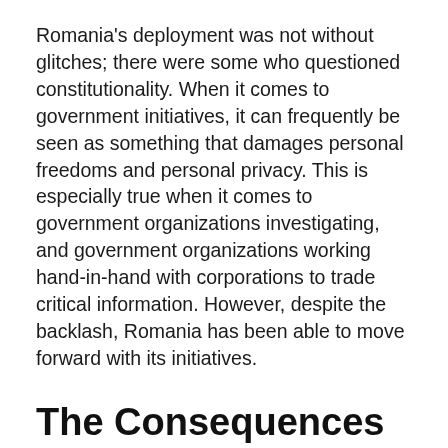Romania's deployment was not without glitches; there were some who questioned constitutionality. When it comes to government initiatives, it can frequently be seen as something that damages personal freedoms and personal privacy. This is especially true when it comes to government organizations investigating, and government organizations working hand-in-hand with corporations to trade critical information. However, despite the backlash, Romania has been able to move forward with its initiatives.
The Consequences of Cybersecurity Improvement
It's presently too early to really determine the consequences of Romania's cybersecurity